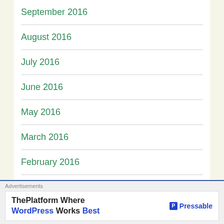September 2016
August 2016
July 2016
June 2016
May 2016
March 2016
February 2016
January 2016
December 2015
Advertisements
[Figure (other): Pressable advertisement banner: ThePlatform Where WordPress Works Best]